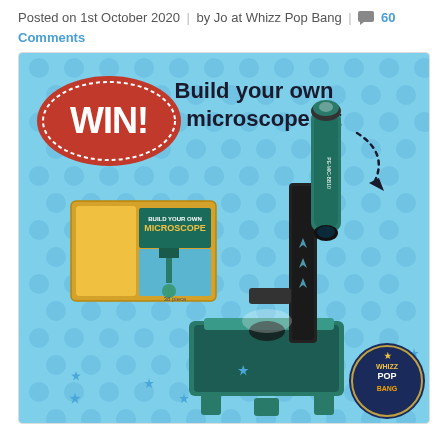Posted on 1st October 2020 | by Jo at Whizz Pop Bang | 60 Comments
[Figure (illustration): Promotional giveaway image with light blue polka-dot background. Red oval badge with white text 'WIN!' on the left. Large bold dark text 'Build your own microscope kit' on the right with a dotted curved arrow. Centre shows an assembled green and black cardboard microscope kit alongside its product box (yellow and brown, labelled 'Build Your Own MICROSCOPE', 38 pieces). Blue star decorations scattered around. Whizz Pop Bang circular logo in bottom right corner.]